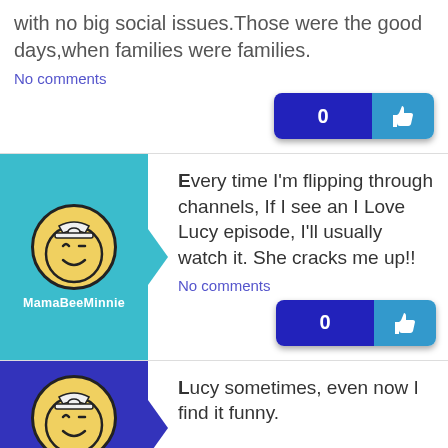with no big social issues.Those were the good days,when families were families.
No comments
Every time I'm flipping through channels, If I see an I Love Lucy episode, I'll usually watch it. She cracks me up!!
No comments
MamaBeeMinnie
Lucy sometimes, even now I find it funny.
ITR